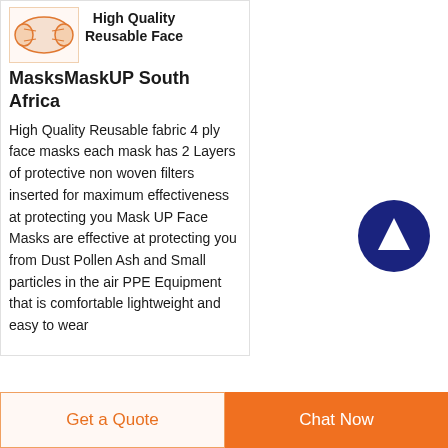[Figure (photo): Small thumbnail image of orange face masks on white background]
High Quality Reusable Face MasksMaskUP South Africa
High Quality Reusable fabric 4 ply face masks each mask has 2 Layers of protective non woven filters inserted for maximum effectiveness at protecting you Mask UP Face Masks are effective at protecting you from Dust Pollen Ash and Small particles in the air PPE Equipment that is comfortable lightweight and easy to wear
[Figure (illustration): Dark blue circle button with white upward arrow icon for scrolling to top]
Get a Quote
Chat Now